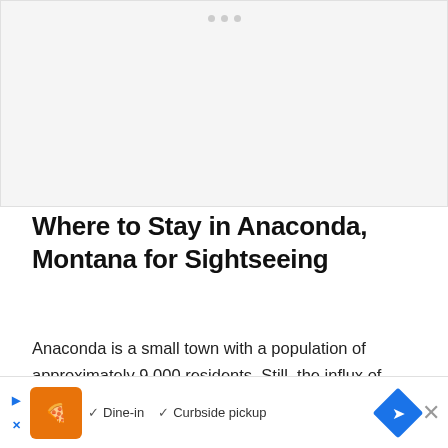[Figure (illustration): Light gray image placeholder area with three small gray dots near the top center, representing a loading or placeholder image carousel]
Where to Stay in Anaconda, Montana for Sightseeing
Anaconda is a small town with a population of approximately 9,000 residents. Still, the influx of tourists has brought hotels, mo... most
[Figure (screenshot): Advertisement banner showing a restaurant logo with orange background, navigation arrows, Dine-in and Curbside pickup checkmarks, a blue diamond navigation arrow icon, and an X close button]